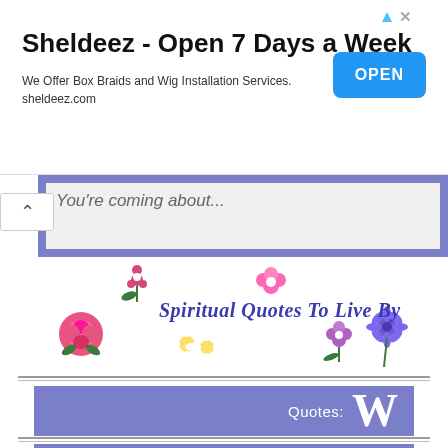[Figure (screenshot): Advertisement banner: Sheldeez - Open 7 Days a Week. We Offer Box Braids and Wig Installation Services. sheldeez.com. Blue OPEN button on right.]
You're coming about...
[Figure (logo): Spiritual Quotes To Live By logo with decorative flowers and cursive text in blue/purple]
Quotes: W